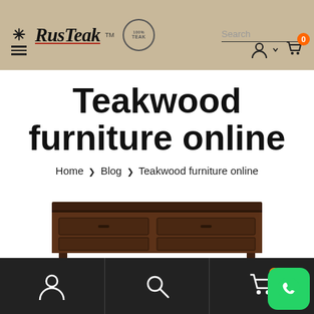[Figure (logo): RusTeak logo with hammer icon, brand name with underline, and 100% Teak stamp circle, plus search bar and cart/user icons in beige header]
Teakwood furniture online
Home > Blog > Teakwood furniture online
[Figure (photo): Teakwood furniture piece - appears to be a dark brown wooden TV unit or dresser with drawers]
[Figure (screenshot): Bottom navigation bar with user, search, and cart icons on dark background, plus WhatsApp green button]